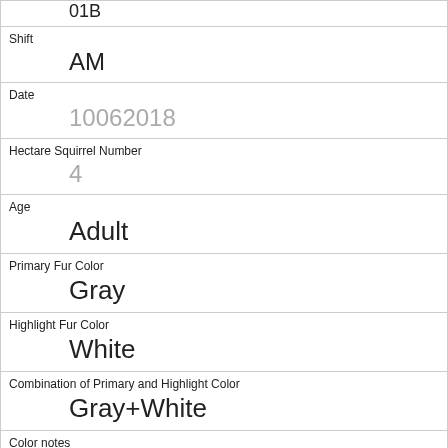01B
Shift: AM
Date: 10062018
Hectare Squirrel Number: 4
Age: Adult
Primary Fur Color: Gray
Highlight Fur Color: White
Combination of Primary and Highlight Color: Gray+White
Color notes:
Location: Above Ground
Above Ground Sighter Measurement: 30